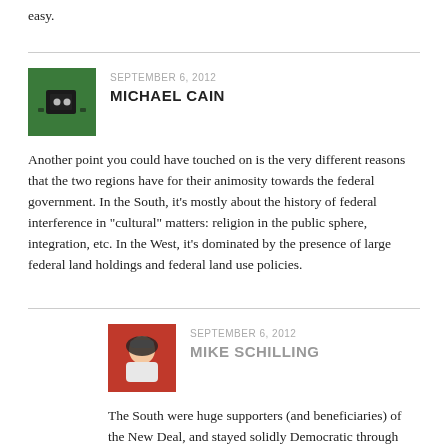easy.
SEPTEMBER 6, 2012
MICHAEL CAIN
Another point you could have touched on is the very different reasons that the two regions have for their animosity towards the federal government. In the South, it’s mostly about the history of federal interference in “cultural” matters: religion in the public sphere, integration, etc. In the West, it’s dominated by the presence of large federal land holdings and federal land use policies.
SEPTEMBER 6, 2012
MIKE SCHILLING
The South were huge supporters (and beneficiaries) of the New Deal, and stayed solidly Democratic through 1964. It’s